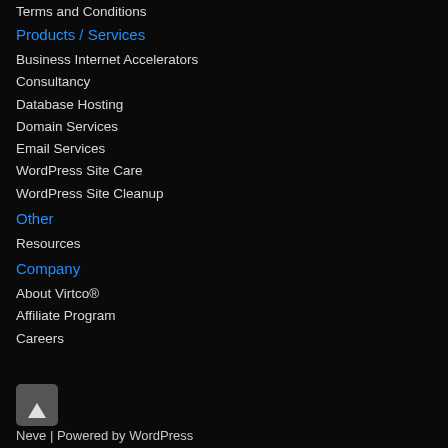Terms and Conditions
Products / Services
Business Internet Accelerators
Consultancy
Database Hosting
Domain Services
Email Services
WordPress Site Care
WordPress Site Cleanup
Other
Resources
Company
About Virtco®
Affiliate Program
Careers
Neve | Powered by WordPress